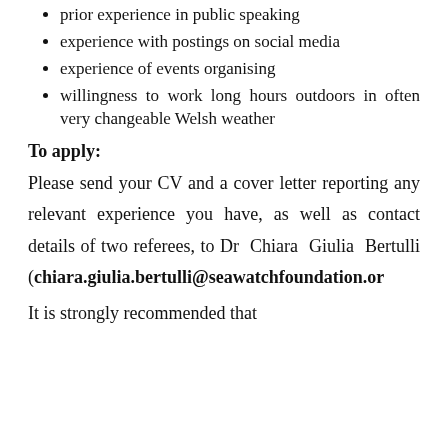prior experience in public speaking
experience with postings on social media
experience of events organising
willingness to work long hours outdoors in often very changeable Welsh weather
To apply:
Please send your CV and a cover letter reporting any relevant experience you have, as well as contact details of two referees, to Dr Chiara Giulia Bertulli (chiara.giulia.bertulli@seawatchfoundation.or
It is strongly recommended that